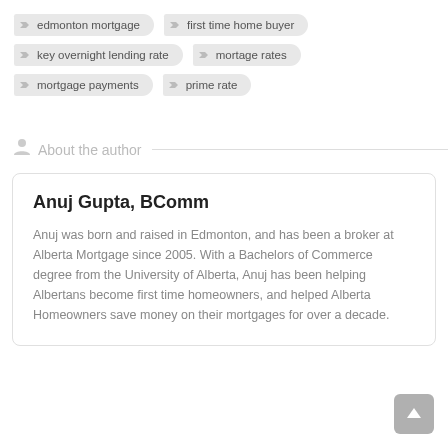edmonton mortgage
first time home buyer
key overnight lending rate
mortage rates
mortgage payments
prime rate
About the author
Anuj Gupta, BComm
Anuj was born and raised in Edmonton, and has been a broker at Alberta Mortgage since 2005. With a Bachelors of Commerce degree from the University of Alberta, Anuj has been helping Albertans become first time homeowners, and helped Alberta Homeowners save money on their mortgages for over a decade.